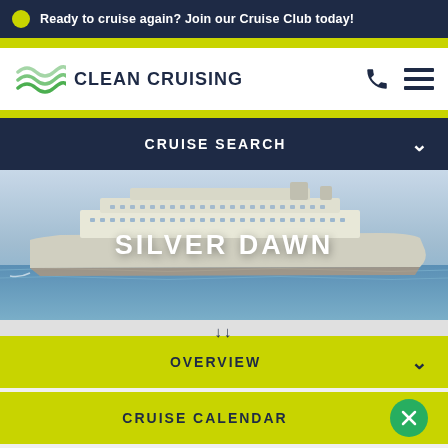Ready to cruise again? Join our Cruise Club today!
[Figure (logo): Clean Cruising logo with green wave icon and dark navy text]
CRUISE SEARCH
[Figure (photo): Silver Dawn cruise ship sailing on calm blue water with cloudy sky. Text overlay reads SILVER DAWN.]
OVERVIEW
CRUISE CALENDAR
DESTINATIONS